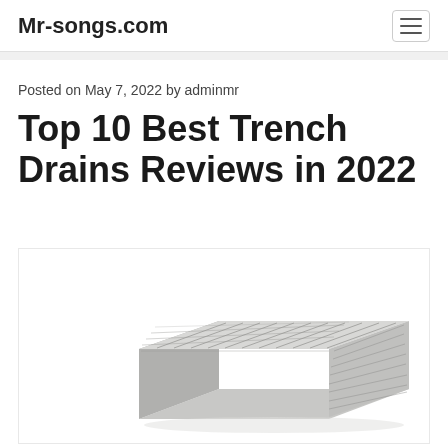Mr-songs.com
Posted on May 7, 2022 by adminmr
Top 10 Best Trench Drains Reviews in 2022
[Figure (photo): Photo of a trench drain / channel drain product, metallic grey grated drain, angled perspective view on white background]